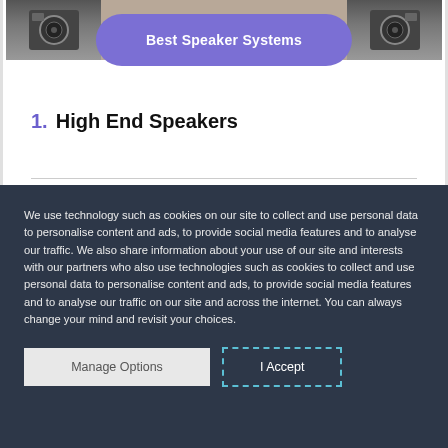[Figure (photo): Speaker systems image at top of page with a purple rounded button overlay labeled 'Best Speaker Systems']
1. High End Speakers
We use technology such as cookies on our site to collect and use personal data to personalise content and ads, to provide social media features and to analyse our traffic. We also share information about your use of our site and interests with our partners who also use technologies such as cookies to collect and use personal data to personalise content and ads, to provide social media features and to analyse our traffic on our site and across the internet. You can always change your mind and revisit your choices.